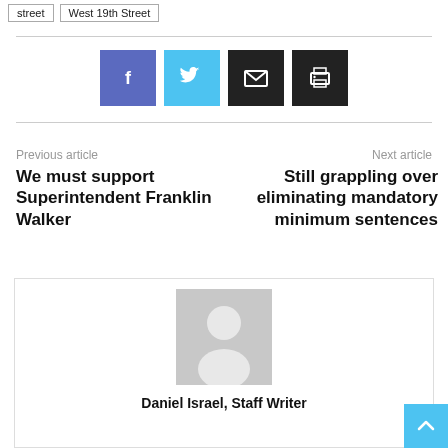street | West 19th Street
[Figure (other): Social sharing buttons: Facebook (blue), Twitter (light blue), Email (black), Print (black)]
Previous article
We must support Superintendent Franklin Walker
Next article
Still grappling over eliminating mandatory minimum sentences
[Figure (photo): Author avatar placeholder image - grey silhouette of person]
Daniel Israel, Staff Writer